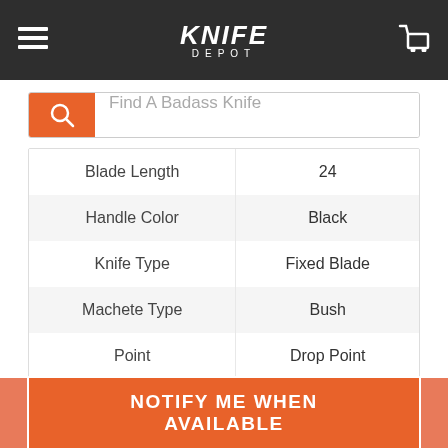Knife Depot
Find A Badass Knife
|  |  |
| --- | --- |
| Blade Length | 24 |
| Handle Color | Black |
| Knife Type | Fixed Blade |
| Machete Type | Bush |
| Point | Drop Point |
| Total Length | 5.63 |
NOTIFY ME WHEN AVAILABLE